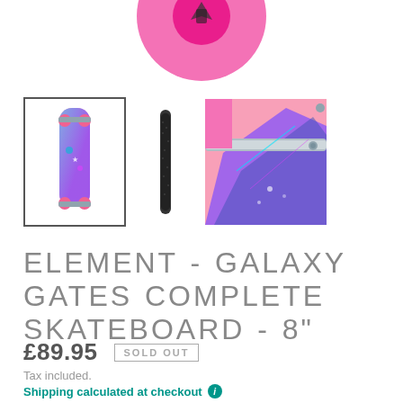[Figure (photo): Top portion of a pink skateboard wheel/logo (Element brand logo visible) at the top center of the page]
[Figure (photo): Three skateboard thumbnail images: first selected with border showing full pink skateboard with galaxy design, second showing dark grip tape side view, third showing close-up of pink skateboard trucks and wheels with galaxy art]
ELEMENT - GALAXY GATES COMPLETE SKATEBOARD - 8"
£89.95  SOLD OUT
Tax included.
Shipping calculated at checkout ℹ
Order before 1pm on a working day for